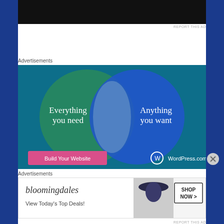[Figure (other): Top portion of a dark/black advertisement banner]
REPORT THIS AD
Advertisements
[Figure (other): WordPress.com advertisement showing a Venn diagram with two overlapping circles on a teal/blue background. Left circle (green) says 'Everything you need', right circle (blue) says 'Anything you want'. Bottom has a pink button 'Build Your Website' and WordPress.com logo.]
Advertisements
[Figure (other): Bloomingdales advertisement showing logo, a woman with a hat, text 'View Today's Top Deals!' and a 'SHOP NOW >' button]
REPORT THIS AD